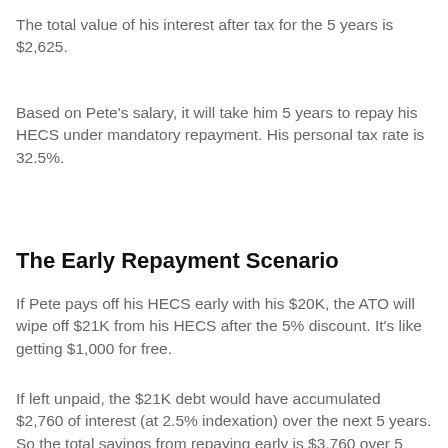The total value of his interest after tax for the 5 years is $2,625.
Based on Pete's salary, it will take him 5 years to repay his HECS under mandatory repayment. His personal tax rate is 32.5%.
The Early Repayment Scenario
If Pete pays off his HECS early with his $20K, the ATO will wipe off $21K from his HECS after the 5% discount. It's like getting $1,000 for free.
If left unpaid, the $21K debt would have accumulated $2,760 of interest (at 2.5% indexation) over the next 5 years. So the total savings from repaying early is $3,760 over 5 years.